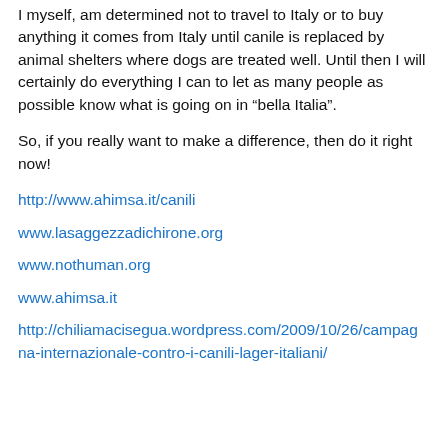I myself, am determined not to travel to Italy or to buy anything it comes from Italy until canile is replaced by animal shelters where dogs are treated well. Until then I will certainly do everything I can to let as many people as possible know what is going on in “bella Italia”.
So, if you really want to make a difference, then do it right now!
http://www.ahimsa.it/canili
www.lasaggezzadichirone.org
www.nothuman.org
www.ahimsa.it
http://chiliamacisegua.wordpress.com/2009/10/26/campagna-internazionale-contro-i-canili-lager-italiani/